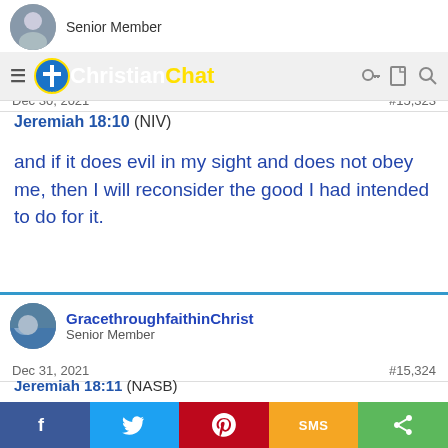Christian Chat — navigation bar with logo
Senior Member
Dec 30, 2021   #15,323
Jeremiah 18:10 (NIV)
and if it does evil in my sight and does not obey me, then I will reconsider the good I had intended to do for it.
GracethroughfaithinChrist — Senior Member
Dec 31, 2021   #15,324
Jeremiah 18:11 (NASB)
So now, speak to the men of Judah and against the inhabitants of Jerusalem, saying, 'This is what the LORD says: "Behold, I am forming a disaster against you and